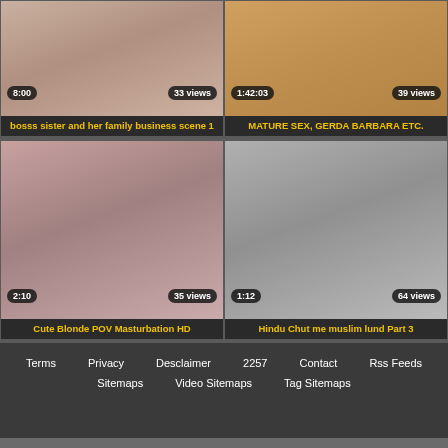[Figure (screenshot): Video thumbnail top-left with duration 8:00 and 33 views]
bosss sister and her family business scene 1
[Figure (screenshot): Video thumbnail top-right with duration 1:42:03 and 39 views]
MATURE SEX, GERDA BARBARA ETC.
[Figure (screenshot): Video thumbnail bottom-left with duration 2:10 and 35 views]
Cute Blonde POV Masturbation HD
[Figure (screenshot): Video thumbnail bottom-right with duration 1:12 and 64 views]
Hindu Chut me muslim lund Part 3
Terms   Privacy   Desclaimer   2257   Contact   Rss Feeds   Sitemaps   Video Sitemaps   Tag Sitemaps